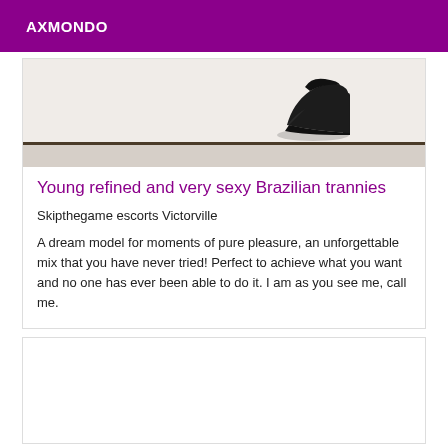AXMONDO
[Figure (photo): Photo showing a high-heeled shoe on a light floor, with a dark baseboard line visible.]
Young refined and very sexy Brazilian trannies
Skipthegame escorts Victorville
A dream model for moments of pure pleasure, an unforgettable mix that you have never tried! Perfect to achieve what you want and no one has ever been able to do it. I am as you see me, call me.